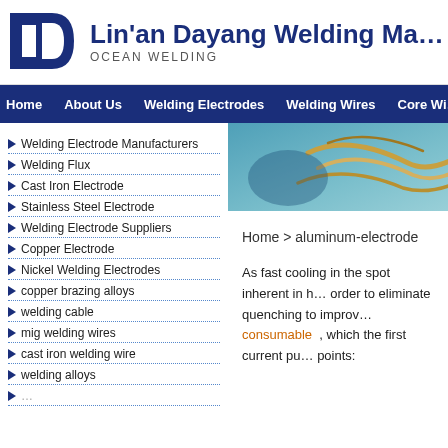[Figure (logo): Lin'an Dayang Welding Machinery company logo - blue square bracket letter D shape]
Lin'an Dayang Welding Ma...
OCEAN WELDING
Home   About Us   Welding Electrodes   Welding Wires   Core Wi...
[Figure (photo): Close-up photo of welding wires/cables in blue-teal tones]
Welding Electrode Manufacturers
Welding Flux
Cast Iron Electrode
Stainless Steel Electrode
Welding Electrode Suppliers
Copper Electrode
Nickel Welding Electrodes
copper brazing alloys
welding cable
mig welding wires
cast iron welding wire
welding alloys
Home > aluminum-electrode
As fast cooling in the spot inherent in h... order to eliminate quenching to improv... consumable , which the first current pu... points: